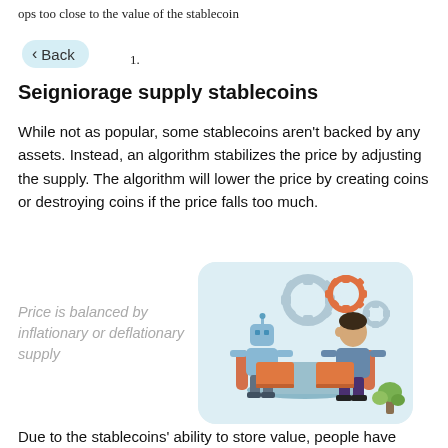ops too close to the value of the stablecoin
< Back  1.
Seigniorage supply stablecoins
While not as popular, some stablecoins aren't backed by any assets. Instead, an algorithm stabilizes the price by adjusting the supply. The algorithm will lower the price by creating coins or destroying coins if the price falls too much.
Price is balanced by inflationary or deflationary supply
[Figure (illustration): Illustration of a robot and a human sitting across a table with laptops, with gear icons in the background, on a light blue rounded rectangle background]
Due to the stablecoins' ability to store value, people have